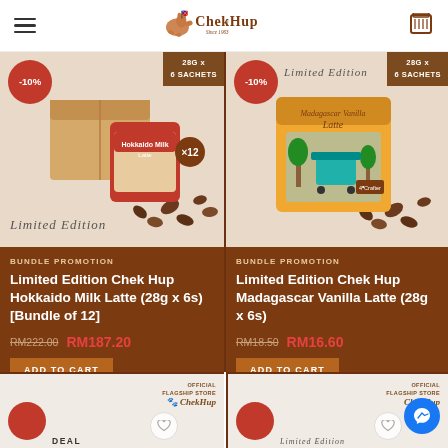Chek Hup — navigation header with logo, hamburger menu, and cart icon
[Figure (photo): Product image of Chek Hup Hokkaido Milk Latte 28g x 6 sachets bundle of 12, shown with box and product packs, coffee beans scattered. -10% discount badge. Limited Edition script. 28G x 6 SACHETS label.]
[Figure (photo): Product image of Chek Hup Madagascar Vanilla Latte 28g x 6 sachets, shown with illustrated box packaging and coffee beans. -10% discount badge. Limited Edition script. 28G x 6 SACHETS label.]
BUNDLE PROMOTION
Limited Edition Chek Hup Hokkaido Milk Latte (28g x 6s) [Bundle of 12]
RM222.00  RM187.20
ADD TO CART
BUNDLE PROMOTION
Limited Edition Chek Hup Madagascar Vanilla Latte (28g x 6s)
RM18.50  RM16.60
ADD TO CART
[Figure (photo): Bottom partial product card left - Chek Hup Official Flagship Store badge, partial red discount badge, partial 'DEAL' text visible]
[Figure (photo): Bottom partial product card right - Chek Hup Official Flagship Store badge, partial red discount badge, partial Limited Edition script visible]